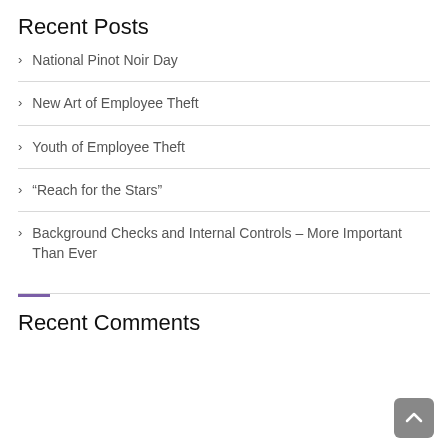Recent Posts
National Pinot Noir Day
New Art of Employee Theft
Youth of Employee Theft
“Reach for the Stars”
Background Checks and Internal Controls – More Important Than Ever
Recent Comments